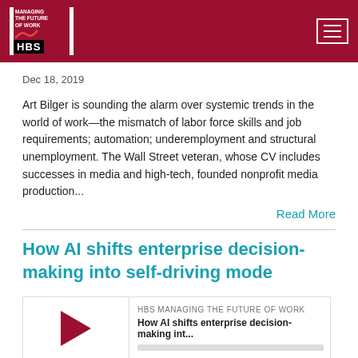Managing the Future of Work — HBS
Dec 18, 2019
Art Bilger is sounding the alarm over systemic trends in the world of work—the mismatch of labor force skills and job requirements; automation; underemployment and structural unemployment. The Wall Street veteran, whose CV includes successes in media and high-tech, founded nonprofit media production...
Read More
How AI shifts enterprise decision-making into self-driving mode
[Figure (other): Podcast player widget with play button, HBS Managing the Future of Work label, episode title 'How AI shifts enterprise decision-making int...', progress bar, time display 00:00:00, and media control icons]